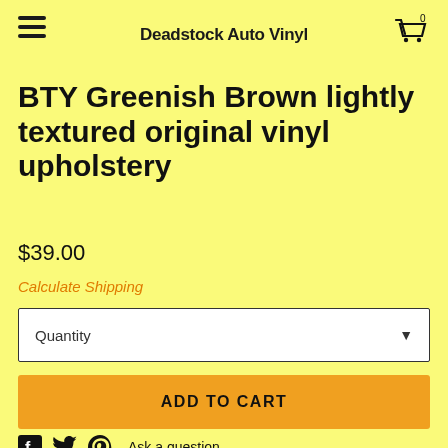Deadstock Auto Vinyl
BTY Greenish Brown lightly textured original vinyl upholstery
$39.00
Calculate Shipping
Quantity
ADD TO CART
Ask a question